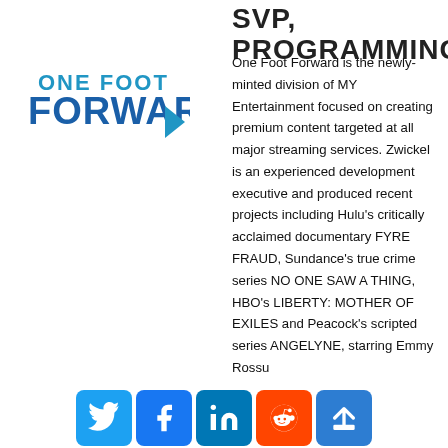SVP, PROGRAMMING
[Figure (logo): One Foot Forward logo with blue text and arrow]
One Foot Forward is the newly-minted division of MY Entertainment focused on creating premium content targeted at all major streaming services. Zwickel is an experienced development executive and produced recent projects including Hulu's critically acclaimed documentary FYRE FRAUD, Sundance's true crime series NO ONE SAW A THING, HBO's LIBERTY: MOTHER OF EXILES and Peacock's scripted series ANGELYNE, starring Emmy Rossu…
[Figure (infographic): Social share buttons: Twitter, Facebook, LinkedIn, Reddit, More]